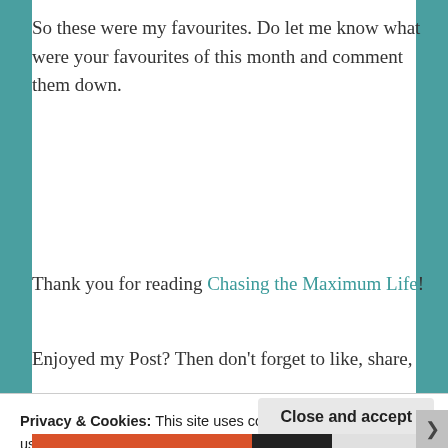So these were my favourites. Do let me know what were your favourites of this month and comment them down.
Thank you for reading Chasing the Maximum Life!
Enjoyed my Post? Then don't forget to like, share,
Privacy & Cookies: This site uses cookies. By continuing to use this website, you agree to their use. To find out more, including how to control cookies, see here: Cookie Policy